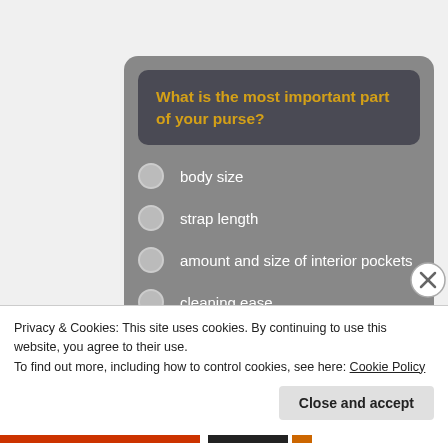[Figure (screenshot): Survey widget on grey rounded rectangle background with question 'What is the most important part of your purse?' in yellow text on dark box, with four radio button options: body size, strap length, amount and size of interior pockets, cleaning ease]
Privacy & Cookies: This site uses cookies. By continuing to use this website, you agree to their use.
To find out more, including how to control cookies, see here: Cookie Policy
Close and accept